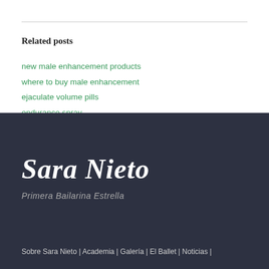Related posts
new male enhancement products
where to buy male enhancement
ejaculate volume pills
endurance spray
Sara Nieto
Primera Bailarina Estrella
Sobre Sara Nieto | Academia | Galería | El Ballet | Noticias |